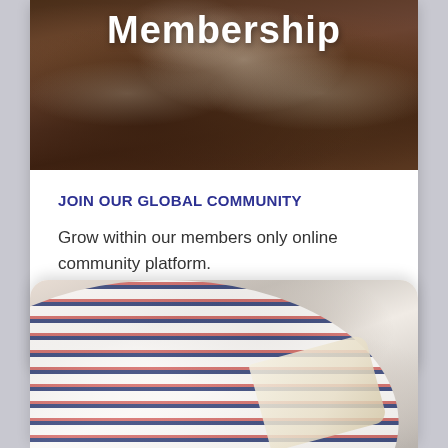[Figure (photo): Hands covered in flour on a dark background with text 'Membership' overlaid in white bold font]
JOIN OUR GLOBAL COMMUNITY
Grow within our members only online community platform.
LEARN MORE
[Figure (photo): Person in striped shirt sitting on a couch writing in a notebook]